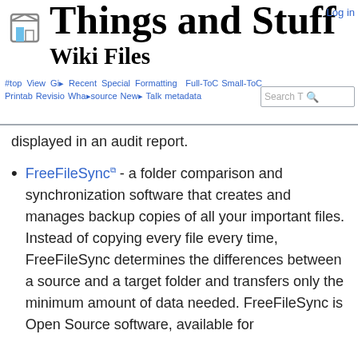Things and Stuff — Wiki Files
displayed in an audit report.
FreeFileSync - a folder comparison and synchronization software that creates and manages backup copies of all your important files. Instead of copying every file every time, FreeFileSync determines the differences between a source and a target folder and transfers only the minimum amount of data needed. FreeFileSync is Open Source software, available for